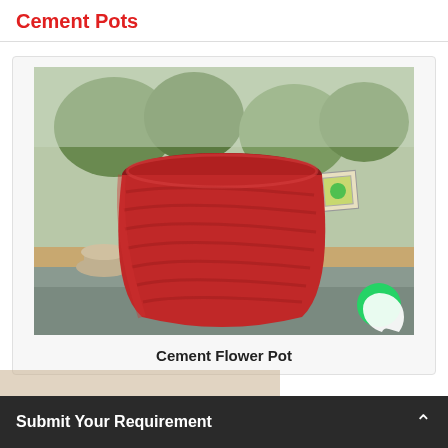Cement Pots
[Figure (photo): Red cement flower pot with spiral ridge pattern, photographed outdoors in a garden setting with other pots and trees visible in background]
Cement Flower Pot
Submit Your Requirement